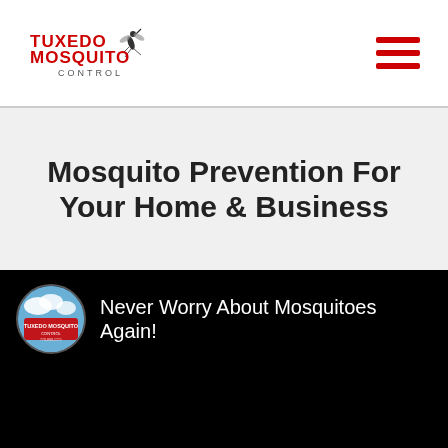[Figure (logo): Tuxedo Mosquito Control logo — red bold text 'TUXEDO MOSQUITO' with a stylized mosquito graphic and 'CONTROL' below]
[Figure (other): Hamburger menu icon — three red horizontal bars stacked]
Mosquito Prevention For Your Home & Business
[Figure (screenshot): YouTube video embed thumbnail showing Tuxedo Mosquito Control channel icon (blue sky background with company branding) beside the text 'Never Worry About Mosquitoes Again!' on a black background]